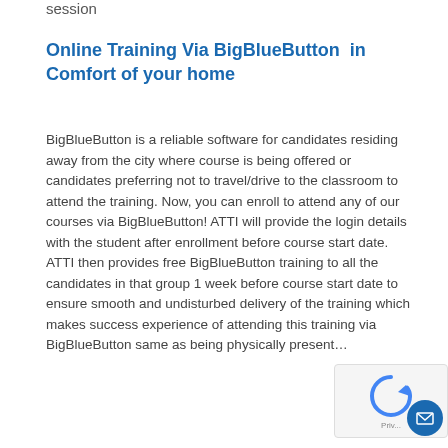session
Online Training Via BigBlueButton  in Comfort of your home
BigBlueButton is a reliable software for candidates residing away from the city where course is being offered or candidates preferring not to travel/drive to the classroom to attend the training. Now, you can enroll to attend any of our courses via BigBlueButton! ATTI will provide the login details with the student after enrollment before course start date. ATTI then provides free BigBlueButton training to all the candidates in that group 1 week before course start date to ensure smooth and undisturbed delivery of the training which makes success experience of attending this training via BigBlueButton same as being physically present...